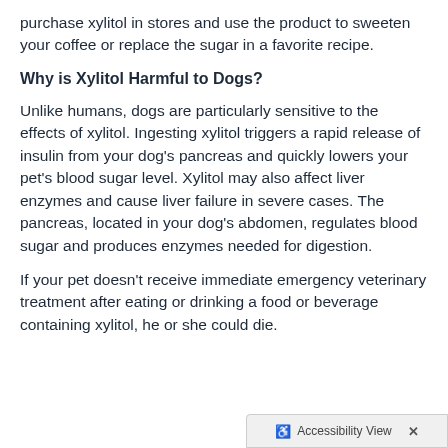purchase xylitol in stores and use the product to sweeten your coffee or replace the sugar in a favorite recipe.
Why is Xylitol Harmful to Dogs?
Unlike humans, dogs are particularly sensitive to the effects of xylitol. Ingesting xylitol triggers a rapid release of insulin from your dog's pancreas and quickly lowers your pet's blood sugar level. Xylitol may also affect liver enzymes and cause liver failure in severe cases. The pancreas, located in your dog's abdomen, regulates blood sugar and produces enzymes needed for digestion.
If your pet doesn't receive immediate emergency veterinary treatment after eating or drinking a food or beverage containing xylitol, he or she could die.